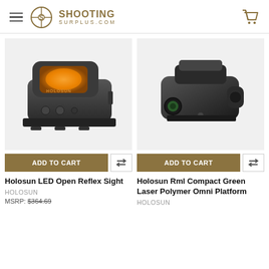SHOOTING SURPLUS.COM
[Figure (photo): Holosun LED Open Reflex Sight - black compact red dot sight with orange lens]
[Figure (photo): Holosun Rml Compact Green Laser Polymer Omni Platform - black compact laser sight]
ADD TO CART
ADD TO CART
Holosun LED Open Reflex Sight
HOLOSUN
MSRP: $364.69
Holosun Rml Compact Green Laser Polymer Omni Platform
HOLOSUN